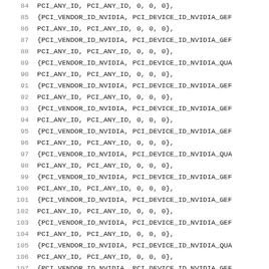Source code listing lines 84-115 showing PCI device ID table entries with PCI_VENDOR_ID_NVIDIA and PCI_DEVICE_ID_NVIDIA_* constants followed by PCI_ANY_ID, PCI_ANY_ID, 0, 0, 0 continuation lines.